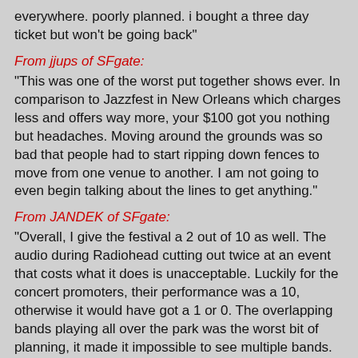everywhere. poorly planned. i bought a three day ticket but won't be going back"
From jjups of SFgate:
"This was one of the worst put together shows ever. In comparison to Jazzfest in New Orleans which charges less and offers way more, your $100 got you nothing but headaches. Moving around the grounds was so bad that people had to start ripping down fences to move from one venue to another. I am not going to even begin talking about the lines to get anything."
From JANDEK of SFgate:
"Overall, I give the festival a 2 out of 10 as well. The audio during Radiohead cutting out twice at an event that costs what it does is unacceptable. Luckily for the concert promoters, their performance was a 10, otherwise it would have got a 1 or 0. The overlapping bands playing all over the park was the worst bit of planning, it made it impossible to see multiple bands. The trash everywhere and the ridiculous lines for everything just point to an amateur hour operation. Outlands Festival=Fired"